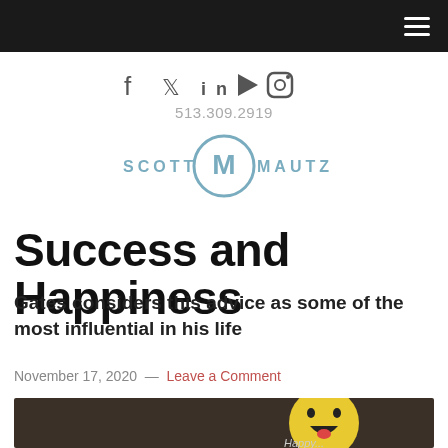[Navigation bar with hamburger menu]
f  y  in  ▶  ○  513.309.2919
[Figure (logo): Scott Mautz logo — circular M emblem with SCOTT and MAUTZ text on either side]
Success and Happiness
Gates considers this advice as some of the most influential in his life
November 17, 2020 — Leave a Comment
[Figure (photo): Yellow smiley face plush toy with open laughing mouth and 'Happy...' text on floor]